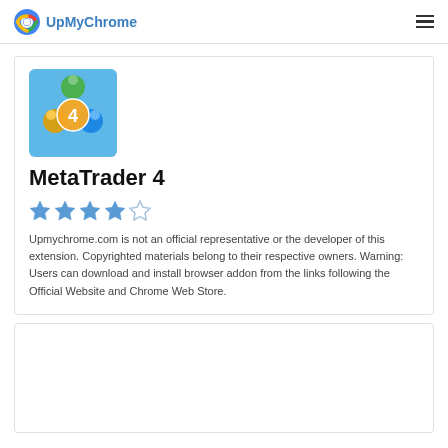UpMyChrome
[Figure (logo): MetaTrader 4 app icon with colorful figures and number 4]
MetaTrader 4
[Figure (other): 4-star rating (4 out of 5 stars, last star outline)]
Upmychrome.com is not an official representative or the developer of this extension. Copyrighted materials belong to their respective owners. Warning: Users can download and install browser addon from the links following the Official Website and Chrome Web Store.